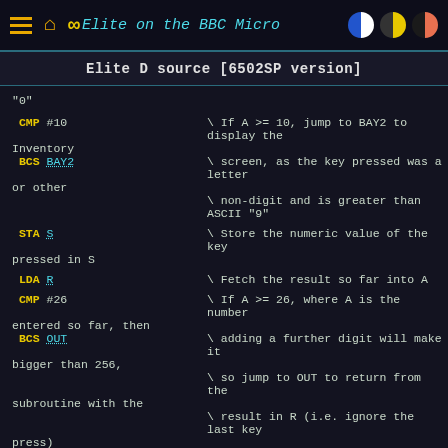Elite on the BBC Micro
Elite D source [6502SP version]
"0"

 CMP #10   \ If A >= 10, jump to BAY2 to display the Inventory
 BCS BAY2  \ screen, as the key pressed was a letter or other
           \ non-digit and is greater than ASCII "9"

 STA S     \ Store the numeric value of the key pressed in S

 LDA R     \ Fetch the result so far into A

 CMP #26   \ If A >= 26, where A is the number entered so far, then
 BCS OUT   \ adding a further digit will make it bigger than 256,
           \ so jump to OUT to return from the subroutine with the
           \ result in R (i.e. ignore the last key press)

 ASL A     \ Set A = (A * 2) + (A * 8) = A * 10
 STA T
 ASL A
 ASL A